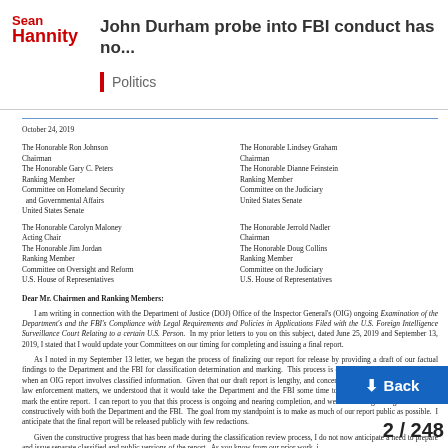Sean Hannity | John Durham probe into FBI conduct has no... | Politics
October 24, 2019
The Honorable Ron Johnson
Chairman
The Honorable Gary C. Peters
Ranking Member
Committee on Homeland Security
  and Governmental Affairs
United States Senate

The Honorable Carolyn Maloney
Acting Chair
The Honorable Jim Jordan
Ranking Member
Committee on Oversight and Reform
U.S. House of Representatives

The Honorable Lindsey Graham
Chairman
The Honorable Dianne Feinstein
Ranking Member
Committee on the Judiciary
United States Senate

The Honorable Jerrold Nadler
Chairman
The Honorable Doug Collins
Ranking Member
Committee on the Judiciary
U.S. House of Representatives
Dear Mr. Chairmen and Ranking Members:
I am writing in connection with the Department of Justice (DOJ) Office of the Inspector General's (OIG) ongoing Examination of the Department's and the FBI's Compliance with Legal Requirements and Policies in Applications Filed with the U.S. Foreign Intelligence Surveillance Court Relating to a certain U.S. Person. In my prior letters to you on this subject, dated June 25, 2019 and September 13, 2019, I stated that I would update your Committees on our timing for completing and issuing a final report.
As I noted in my September 13 letter, we began the process of finalizing our report for release by providing a draft of our factual findings to the Department and the FBI for classification determination and marking. This process is consistent with our usual practice when an OIG report involves classified information. Given that our draft report is lengthy, and concerns sensitive national security and law enforcement matters, we understood that it would take the Department and the FBI some time to work through and appropriately mark the entire report. I can report to you that this process is ongoing and nearing completion, and we are working through these issues constructively with both the Department and the FBI. The goal from my standpoint is to make as much of our report public as possible. I anticipate that the final report will be released publicly with few redactions.
Given the constructive progress that has been made during the classification review process, I do not now anticipate a need to prepare and issue separate classified and public versions of the report. As you know from our prior work, it ...